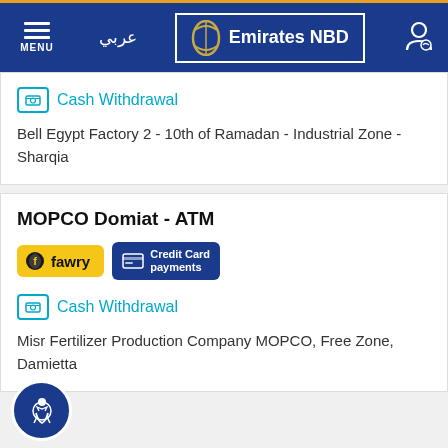Emirates NBD - عربي - MENU
Cash Withdrawal
Bell Egypt Factory 2 - 10th of Ramadan - Industrial Zone - Sharqia
MOPCO Domiat - ATM
[Figure (logo): Fawry badge and Credit Card payments badge]
Cash Withdrawal
Misr Fertilizer Production Company MOPCO, Free Zone, Damietta
New Suez university (1) - ATM